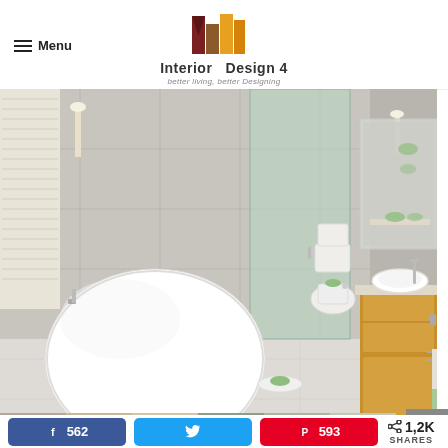Menu | Interior Design 4 | better living, better Designing
[Figure (photo): Modern minimalist bathroom with a white egg-shaped freestanding bathtub on the left, a wall-mounted wooden vanity with a round white vessel sink and chrome faucet on the right, toilet and bidet in the background center, light green glass partition, grey concrete-style tile walls and floor, white ambient lighting]
562 [Facebook] | [Twitter] | 593 [Pinterest] | < 1,2K SHARES